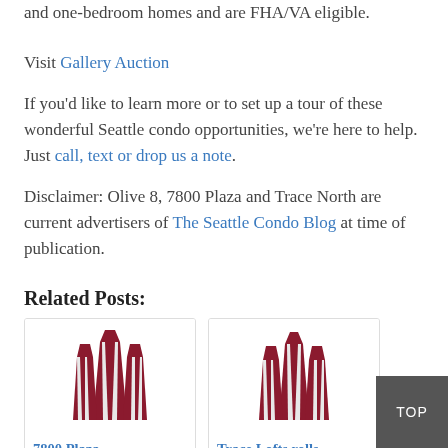and one-bedroom homes and are FHA/VA eligible.
Visit Gallery Auction
If you'd like to learn more or to set up a tour of these wonderful Seattle condo opportunities, we're here to help. Just call, text or drop us a note.
Disclaimer: Olive 8, 7800 Plaza and Trace North are current advertisers of The Seattle Condo Blog at time of publication.
Related Posts:
[Figure (logo): 7800 Plaza logo — dark red art deco building top icon]
[Figure (logo): Trace Lofts logo — dark red art deco building top icon]
7800 Plaza
Trace Lofts rolls